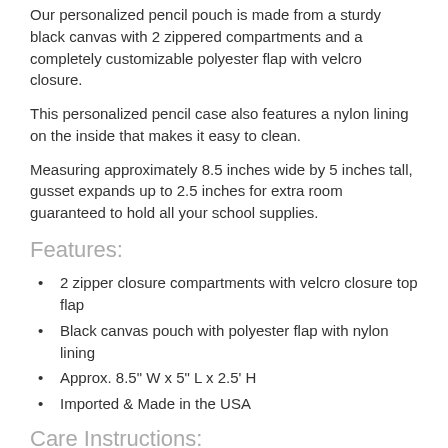Our personalized pencil pouch is made from a sturdy black canvas with 2 zippered compartments and a completely customizable polyester flap with velcro closure.
This personalized pencil case also features a nylon lining on the inside that makes it easy to clean.
Measuring approximately 8.5 inches wide by 5 inches tall, gusset expands up to 2.5 inches for extra room guaranteed to hold all your school supplies.
Features:
2 zipper closure compartments with velcro closure top flap
Black canvas pouch with polyester flap with nylon lining
Approx. 8.5" W x 5" L x 2.5' H
Imported & Made in the USA
Care Instructions:
Wipe down with damp cloth and spot clean